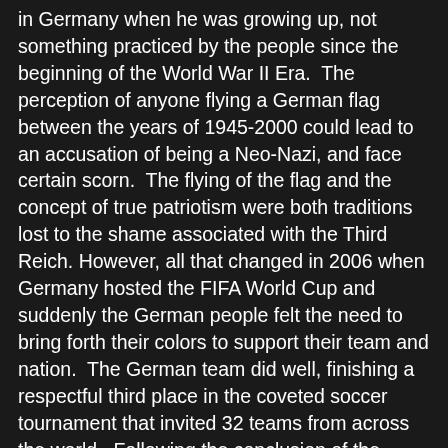in Germany when he was growing up, not something practiced by the people since the beginning of the World War II Era.  The perception of anyone flying a German flag between the years of 1945-2000 could lead to an accusation of being a Neo-Nazi, and face certain scorn.  The flying of the flag and the concept of true patriotism were both traditions lost to the shame associated with the Third Reich.  However, all that changed in 2006 when Germany hosted the FIFA World Cup and suddenly the German people felt the need to bring forth their colors to support their team and nation.  The German team did well, finishing a respectful third place in the coveted soccer tournament that invited 32 teams from across the world.  Following the conclusion of the World Cup the flag continued to be flown in celebration of Germany's success and has stayed on display ever since.  It was a healthy outcome for the nation of Germany, a venue which helped provide the nation an opportunity to rediscover some sense of national pride and unity.  During our stay the 2012 Euro Cup was in full swing and the black, red, and, gold colors were seen proudly displayed everywhere.  I even purchased a German flag in the form of a hat to wear to the next soccer game accompanied by a